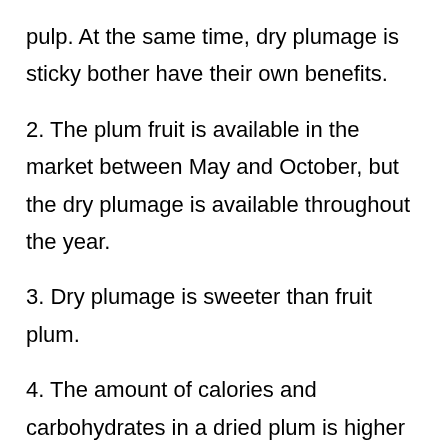pulp. At the same time, dry plumage is sticky bother have their own benefits.
2. The plum fruit is available in the market between May and October, but the dry plumage is available throughout the year.
3. Dry plumage is sweeter than fruit plum.
4. The amount of calories and carbohydrates in a dried plum is higher than the fresh plum, although both are nutritious.
5. The plum has high vitamin-C, whereas the dried plum has less vitamin-C.